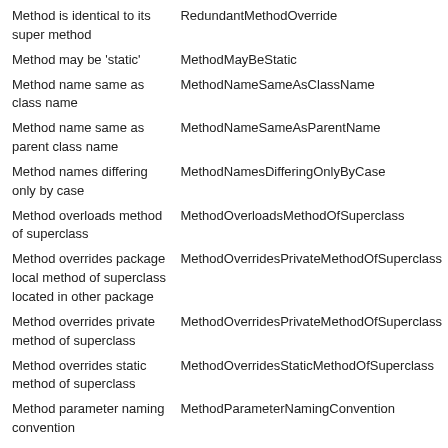| Description | Rule Name |
| --- | --- |
| Method is identical to its super method | RedundantMethodOverride |
| Method may be 'static' | MethodMayBeStatic |
| Method name same as class name | MethodNameSameAsClassName |
| Method name same as parent class name | MethodNameSameAsParentName |
| Method names differing only by case | MethodNamesDifferingOnlyByCase |
| Method overloads method of superclass | MethodOverloadsMethodOfSuperclass |
| Method overrides package local method of superclass located in other package | MethodOverridesPrivateMethodOfSuperclass |
| Method overrides private method of superclass | MethodOverridesPrivateMethodOfSuperclass |
| Method overrides static method of superclass | MethodOverridesStaticMethodOfSuperclass |
| Method parameter naming convention | MethodParameterNamingConvention |
| Method parameter of concrete class | MethodParameterOfConcreteClass |
| Method return of concrete class | MethodReturnOfConcreteClass |
| Method with more than three negations | MethodWithMoreThanThreeNegations |
| Method with multiple loops | MethodWithMultipleLoops |